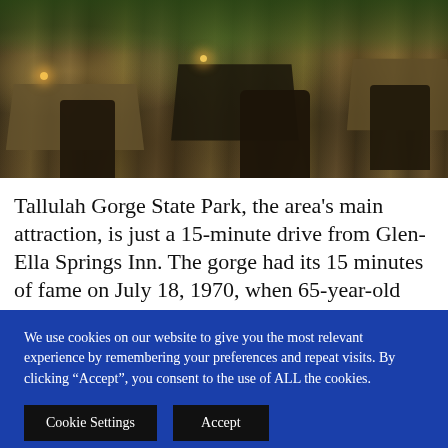[Figure (photo): Outdoor restaurant patio at dusk/evening with dark wicker chairs, tables with dark tablecloths, candles, and lush green foliage in the background.]
Tallulah Gorge State Park, the area's main attraction, is just a 15-minute drive from Glen-Ella Springs Inn. The gorge had its 15 minutes of fame on July 18, 1970, when 65-year-old Karl Wallenda
We use cookies on our website to give you the most relevant experience by remembering your preferences and repeat visits. By clicking “Accept”, you consent to the use of ALL the cookies.